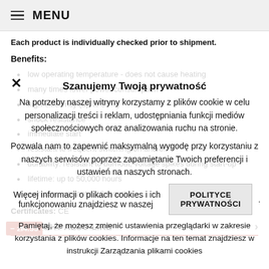≡ MENU
Each product is individually checked prior to shipment.
Benefits:
low operating temperature - does not cause heating
many times lower power consumption
high efficiency (up to 97%)
shock resistance
immediate start
resistant to frequent switching on and off
durability: resistant to burnout, voltage spikes during start-up
lifetime: up to 50,000 hours
warranty, warranty: 12 months
Certificates: CE
YOU MIGHT ALSO LIKE
Szanujemy Twoją prywatność
Na potrzeby naszej witryny korzystamy z plików cookie w celu personalizacji treści i reklam, udostępniania funkcji mediów społecznościowych oraz analizowania ruchu na stronie.
Pozwala nam to zapewnić maksymalną wygodę przy korzystaniu z naszych serwisów poprzez zapamiętanie Twoich preferencji i ustawień na naszych stronach.
Więcej informacji o plikach cookies i ich funkcjonowaniu znajdziesz w naszej POLITYCE PRYWATNOŚCI.
Pamiętaj, że możesz zmienić ustawienia przeglądarki w zakresie korzystania z plików cookies. Informacje na ten temat znajdziesz w instrukcji Zarządzania plikami cookies
− zł4.55